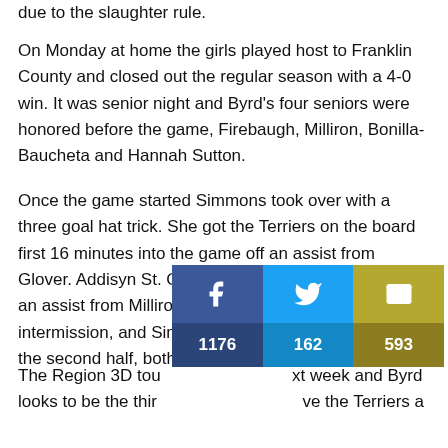due to the slaughter rule.
On Monday at home the girls played host to Franklin County and closed out the regular season with a 4-0 win. It was senior night and Byrd's four seniors were honored before the game, Firebaugh, Milliron, Bonilla-Baucheta and Hannah Sutton.
Once the game started Simmons took over with a three goal hat trick. She got the Terriers on the board first 16 minutes into the game off an assist from Glover. Addisyn St. Clair put Byrd up 2-0 at the half off an assist from Milliron just three minutes before intermission, and Simmons hit the net twice more in the second half, both assisted by St. Clair.
The Region 3D tou… next week and Byrd looks to be the thir… ve the Terriers a
[Figure (infographic): Social share overlay showing Facebook (1176 shares), Twitter (162 shares), and Email (593 shares) buttons with counts]